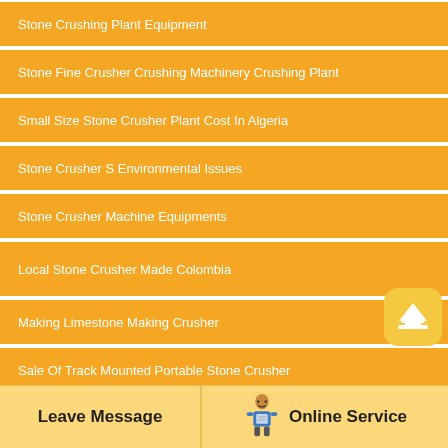Stone Crushing Plant Equipment
Stone Fine Crusher Crushing Machinery Crushing Plant
Small Size Stone Crusher Plant Cost In Algeria
Stone Crusher S Environmental Issues
Stone Crusher Machine Equipments
Local Stone Crusher Made Colombia
Making Limestone Making Crusher
Sale Of Track Mounted Portable Stone Crusher
Stone Crusher Type And Price In Malaysia Stone Crusher Machine
Stone Crusher Parts Productions Companies
Leave Message   Online Service